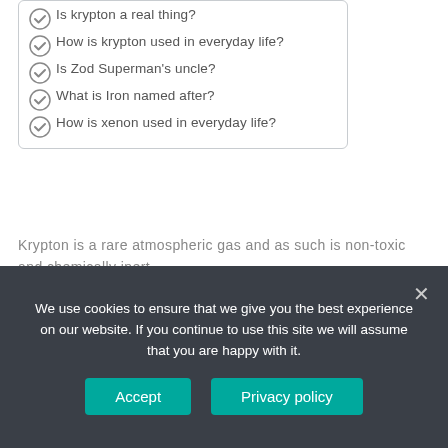Is krypton a real thing?
How is krypton used in everyday life?
Is Zod Superman's uncle?
What is Iron named after?
How is xenon used in everyday life?
Krypton is a rare atmospheric gas and as such is non-toxic and chemically inert.
Is Krypton used in medicine?
Krypton-85 is also used to excite phosphors in light sources with no external source of energy and in medicine to detect abnormal heart openings.
We use cookies to ensure that we give you the best experience on our website. If you continue to use this site we will assume that you are happy with it.